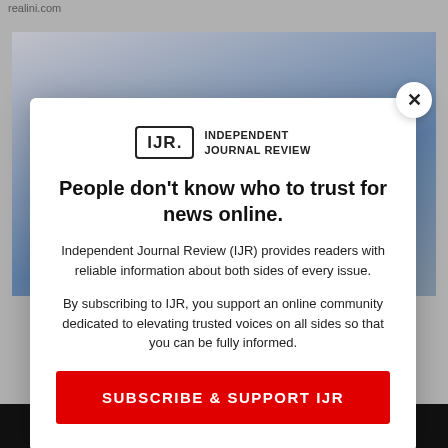realini.com
[Figure (photo): Background photo showing a blurred person and blue sky, partially visible behind a modal dialog]
[Figure (logo): Independent Journal Review logo: IJR. in a box next to text INDEPENDENT JOURNAL REVIEW]
People don't know who to trust for news online.
Independent Journal Review (IJR) provides readers with reliable information about both sides of every issue.
By subscribing to IJR, you support an online community dedicated to elevating trusted voices on all sides so that you can be fully informed.
SUBSCRIBE & SUPPORT IJR
Already subscribed? Login